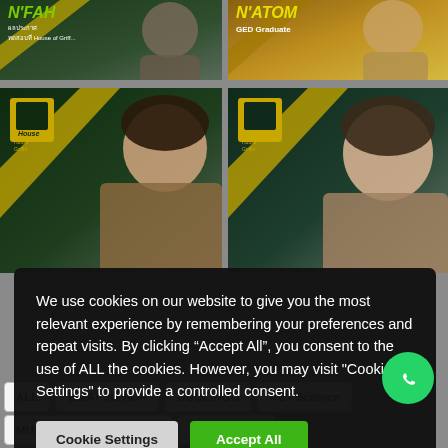[Figure (screenshot): N'FAH thumbnail - person with Thai text and House of Griffin branding on dark green background]
[Figure (screenshot): N'ATOM thumbnail - GED Graduate on yellow/gold background]
[Figure (screenshot): Two more House of Griffin video thumbnails showing young women, partially visible behind cookie consent overlay]
We use cookies on our website to give you the most relevant experience by remembering your preferences and repeat visits. By clicking “Accept All”, you consent to the use of ALL the cookies. However, you may visit "Cookie Settings" to provide a controlled consent.
Cookie Settings
Accept All
ALL
BMAT JUNIOR
DUOLINGO
ACT Science
MUIDS Science (Grade 10)
General Math
General English
AFS Scholarship
ASEAN Scholarship
KMIDS
GSAT
GATE